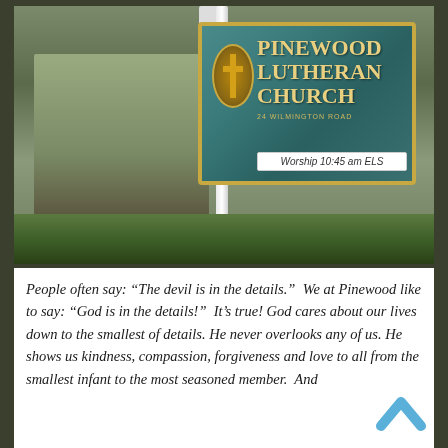[Figure (photo): Two people holding dogs standing in front of a Pinewood Lutheran Church sign at 24 Wilmington Road. The sign shows 'Worship 10:45 am ELS'. The church sign is teal/blue-green with gold lettering and a cross emblem.]
People often say: “The devil is in the details.”  We at Pinewood like to say: “God is in the details!”  It’s true!  God cares about our lives down to the smallest of details. He never overlooks any of us. He shows us kindness, compassion, forgiveness and love to all from the smallest infant to the most seasoned member.  And